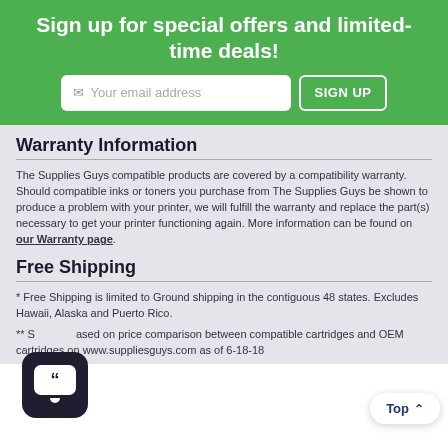Sign up for special offers and limited-time deals!
[Figure (screenshot): Email signup form with input field placeholder 'Your email address' and a 'SIGN UP' button]
Warranty Information
The Supplies Guys compatible products are covered by a compatibility warranty. Should compatible inks or toners you purchase from The Supplies Guys be shown to produce a problem with your printer, we will fulfill the warranty and replace the part(s) necessary to get your printer functioning again. More information can be found on our Warranty page.
Free Shipping
* Free Shipping is limited to Ground shipping in the contiguous 48 states. Excludes Hawaii, Alaska and Puerto Rico.
** Savings based on price comparison between compatible cartridges and OEM cartridges on www.suppliesguys.com as of 6-18-18